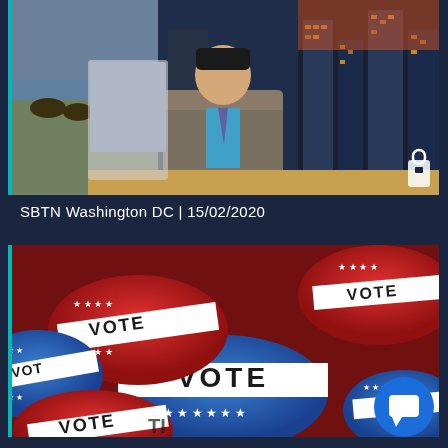[Figure (screenshot): TV news broadcast thumbnail showing a male anchor in a grey suit with cyan shirt, standing in front of a backdrop with cityscapes and a pastoral scene with sheep. A lock icon is visible in the bottom right corner.]
SBTN Washington DC | 15/02/2020
[Figure (photo): Photo of multiple red, white, and blue patriotic VOTE buttons/badges with stars and stripes design, stacked together. An Amazon assistant button is visible in the bottom right corner.]
SBTN Washington DC | 14/02/2020